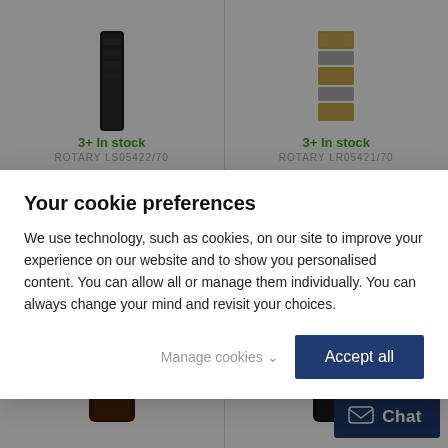[Figure (photo): Black leather watch strap with '3+ In stock' label in green and product code ROTARY LS05422/70]
[Figure (photo): Two-tone metal watch bracelet with '3+ In stock' label in green and product code ROTARY LR05421/70]
Your cookie preferences

We use technology, such as cookies, on our site to improve your experience on our website and to show you personalised content. You can allow all or manage them individually. You can always change your mind and revisit your choices.
[Figure (photo): Gold-tone Rotary watch with white dial, Roman numerals, blue hands, moonphase complication, and dark brown leather strap]
[Figure (photo): Silver-tone Rotary Roma watch with white dial, Roman numerals, day-date window, and black leather strap]